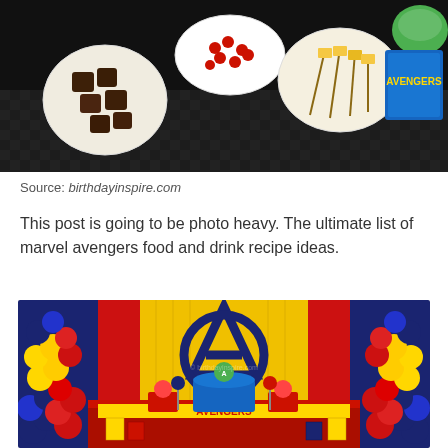[Figure (photo): Top-down view of a party food table with plates of dark brownies, red candies/berries, cheese and crackers on skewers, a green drink, and Avengers packaging on a dark tablecloth.]
Source: birthdayinspire.com
This post is going to be photo heavy. The ultimate list of marvel avengers food and drink recipe ideas.
[Figure (photo): An elaborately decorated Avengers birthday party dessert table with a large Avengers 'A' logo on a yellow curtain backdrop flanked by blue and red curtains. Balloon columns of red, yellow, and blue balloons flank both sides. The table is filled with cakes, cupcake stands, figurines, and colorful party foods.]